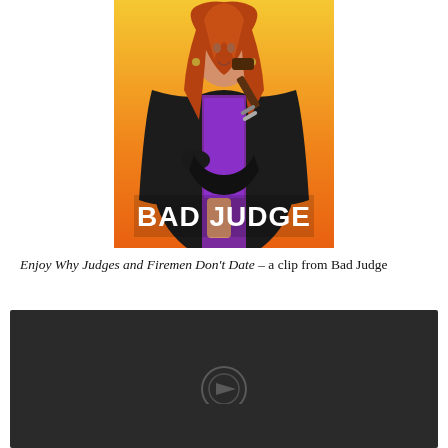[Figure (photo): Promotional poster for the TV show 'Bad Judge'. A woman with long red hair wearing a black judge's robe over a purple blouse holds a gavel. She stands against an orange/yellow gradient background. The text 'BAD JUDGE' appears in large white bold letters at the bottom of the image.]
Enjoy Why Judges and Firemen Don't Date – a clip from Bad Judge
[Figure (screenshot): Dark video player screenshot with a dark/black background, showing a partially visible circular logo or watermark at the bottom center.]